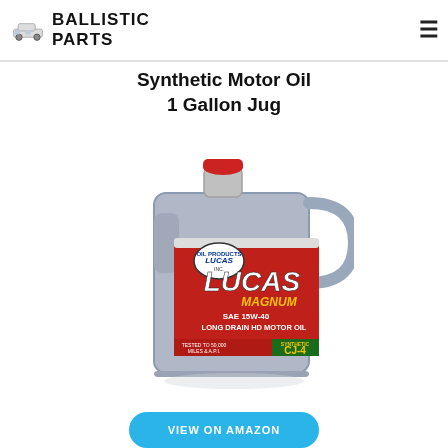BALLISTIC PARTS
Synthetic Motor Oil 1 Gallon Jug
[Figure (photo): Lucas SAE 15W-40 Magnum Long Drain HD Motor Oil Synthetic CJ-4 1 gallon jug with red cap, gray plastic container with red and white label]
VIEW ON AMAZON